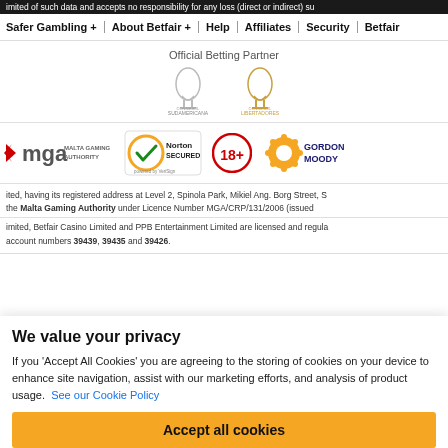imited of such data and accepts no responsibility for any loss (direct or indirect) su
Safer Gambling + | About Betfair + | Help | Affiliates | Security | Betfair
Official Betting Partner
[Figure (logo): Copa Sudamericana and Copa Libertadores logos]
[Figure (logo): MGA Malta Gaming Authority logo, Norton Secured by VeriSign badge, 18+ badge, Gordon Moody logo]
ited, having its registered address at Level 2, Spinola Park, Mikiel Ang. Borg Street, S the Malta Gaming Authority under Licence Number MGA/CRP/131/2006 (issued
imited, Betfair Casino Limited and PPB Entertainment Limited are licensed and regula account numbers 39439, 39435 and 39426.
We value your privacy
If you 'Accept All Cookies' you are agreeing to the storing of cookies on your device to enhance site navigation, assist with our marketing efforts, and analysis of product usage.  See our Cookie Policy
Accept all cookies